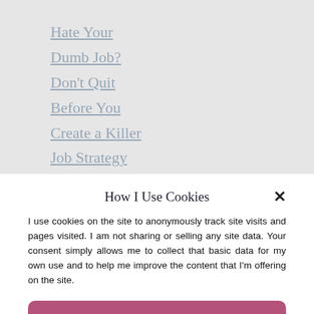Hate Your
Dumb Job?
Don't Quit
Before You
Create a Killer
Job Strategy
How I Use Cookies
I use cookies on the site to anonymously track site visits and pages visited. I am not sharing or selling any site data. Your consent simply allows me to collect that basic data for my own use and to help me improve the content that I'm offering on the site.
OK!
Cookie Policy   Privacy Policy